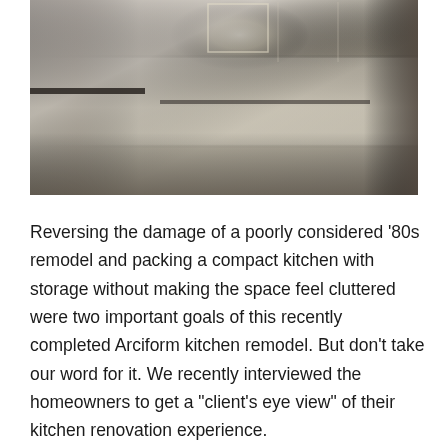[Figure (photo): Interior photo of a renovated kitchen featuring white shaker-style cabinets, dark countertops, stainless steel appliances including a cooktop and dishwasher, a window above the sink, and light-colored flooring.]
Reversing the damage of a poorly considered '80s remodel and packing a compact kitchen with storage without making the space feel cluttered were two important goals of this recently completed Arciform kitchen remodel. But don't take our word for it. We recently interviewed the homeowners to get a "client's eye view" of their kitchen renovation experience.